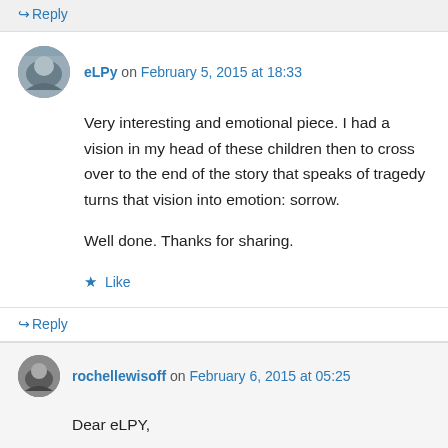↪ Reply
eLPy on February 5, 2015 at 18:33
Very interesting and emotional piece. I had a vision in my head of these children then to cross over to the end of the story that speaks of tragedy turns that vision into emotion: sorrow.

Well done. Thanks for sharing.
★ Like
↪ Reply
rochellewisoff on February 6, 2015 at 05:25
Dear eLPY,